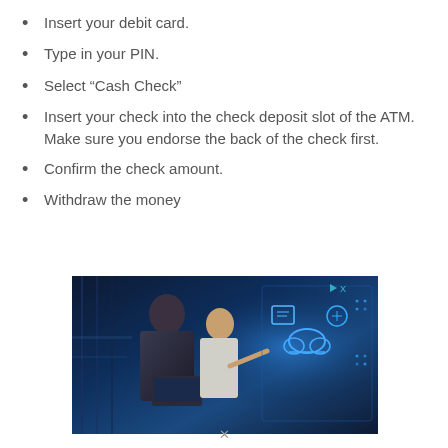Insert your debit card.
Type in your PIN.
Select “Cash Check”
Insert your check into the check deposit slot of the ATM. Make sure you endorse the back of the check first.
Confirm the check amount.
Withdraw the money
[Figure (photo): Two IT professionals, a man holding a laptop and a woman, examining a glowing digital interface with cloud computing icons and data visualizations in a server room environment.]